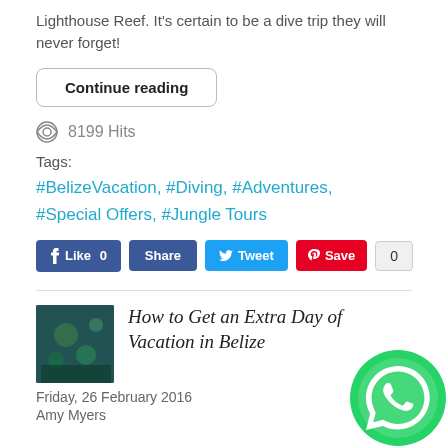Lighthouse Reef. It's certain to be a dive trip they will never forget!
Continue reading
8199 Hits
Tags:
#BelizeVacation, #Diving, #Adventures, #Special Offers, #Jungle Tours
[Figure (infographic): Social sharing buttons: Facebook Like 0, Share, Tweet, Pinterest Save, count 0]
[Figure (photo): Small thumbnail photo of underwater/jungle scene in blue-green tones]
How to Get an Extra Day of Vacation in Belize
Friday, 26 February 2016
Amy Myers
[Figure (logo): WhatsApp green circle logo floating bottom right]